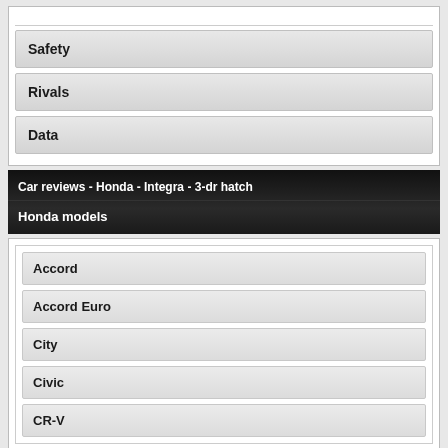Safety
Rivals
Data
Car reviews - Honda - Integra - 3-dr hatch
Honda models
Accord
Accord Euro
City
Civic
CR-V